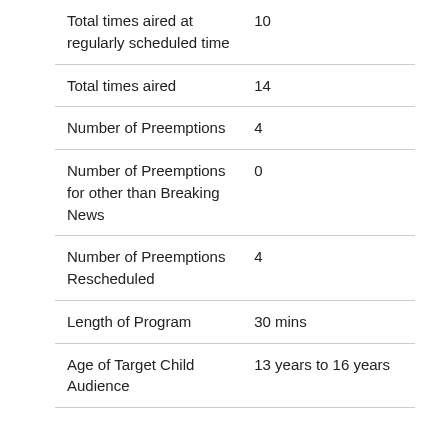| Total times aired at regularly scheduled time | 10 |
| Total times aired | 14 |
| Number of Preemptions | 4 |
| Number of Preemptions for other than Breaking News | 0 |
| Number of Preemptions Rescheduled | 4 |
| Length of Program | 30 mins |
| Age of Target Child Audience | 13 years to 16 years |